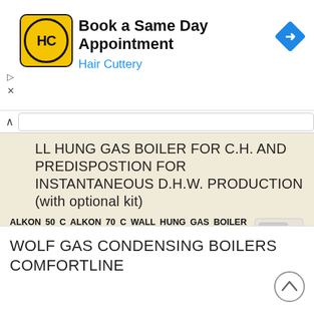[Figure (screenshot): Hair Cuttery advertisement banner: yellow HC logo, 'Book a Same Day Appointment' in bold, 'Hair Cuttery' in blue, blue diamond navigation arrow icon on right, ad controls (play and close) on left]
LL HUNG GAS BOILER FOR C.H. AND PREDISPOSTION FOR INSTANTANEOUS D.H.W. PRODUCTION (with optional kit)
ALKON 50 C ALKON 70 C WALL HUNG GAS BOILER FOR C.H. AND PREDISPOSTION FOR INSTANTANEOUS D.H.W. PRODUCTION (with optional kit) OUTPUT RANGE from 50 to 560 kw (in battery) WORKING TEMPERATURE no limit on
More information →
WOLF GAS CONDENSING BOILERS COMFORTLINE